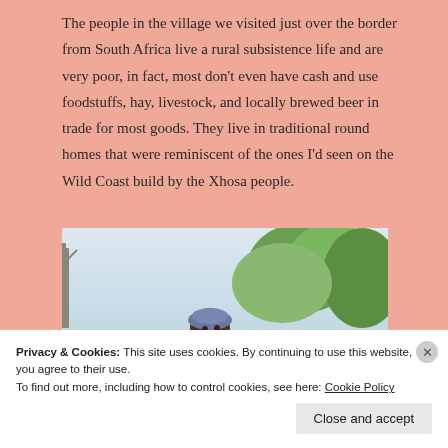The people in the village we visited just over the border from South Africa live a rural subsistence life and are very poor, in fact, most don't even have cash and use foodstuffs, hay, livestock, and locally brewed beer in trade for most goods. They live in traditional round homes that were reminiscent of the ones I'd seen on the Wild Coast build by the Xhosa people.
[Figure (photo): A person wearing a grey/blue head covering sits outdoors with green trees in the background]
Privacy & Cookies: This site uses cookies. By continuing to use this website, you agree to their use.
To find out more, including how to control cookies, see here: Cookie Policy